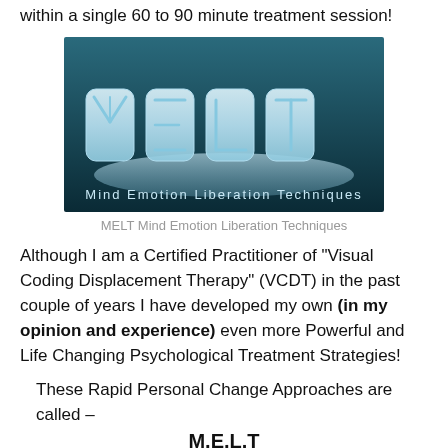within a single 60 to 90 minute treatment session!
[Figure (illustration): Logo image showing ice-sculptured letters spelling 'MELT' on a reflective surface with text below reading 'Mind Emotion Liberation Techniques', set against a dark teal/blue gradient background.]
MELT Mind Emotion Liberation Techniques
Although I am a Certified Practitioner of "Visual Coding Displacement Therapy" (VCDT) in the past couple of years I have developed my own (in my opinion and experience) even more Powerful and Life Changing Psychological Treatment Strategies!
These Rapid Personal Change Approaches are called –
M.E.L.T